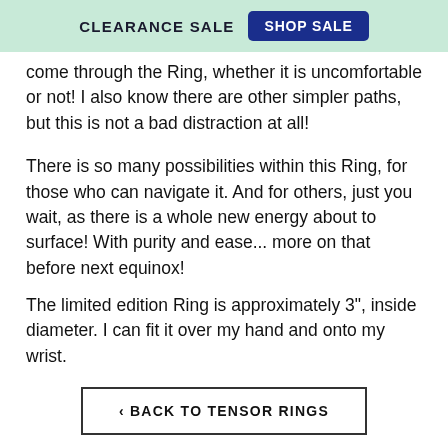CLEARANCE SALE  SHOP SALE
come through the Ring, whether it is uncomfortable or not!  I also know there are other simpler paths, but this is not a bad distraction at all!
There is so many possibilities within this Ring, for those who can navigate it.  And for others, just you wait, as there is a whole new energy about to surface!  With purity and ease...  more on that before next equinox!
The limited edition Ring is approximately 3", inside diameter.  I can fit it over my hand and onto my wrist.
‹ BACK TO TENSOR RINGS